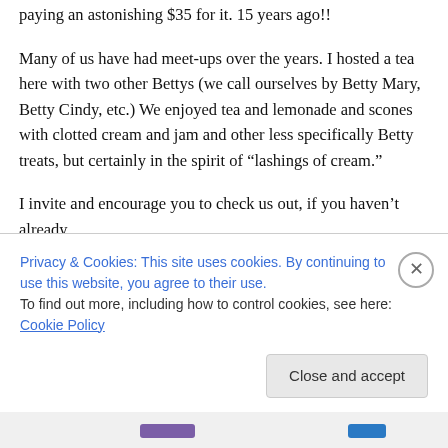paying an astonishing $35 for it. 15 years ago!!
Many of us have had meet-ups over the years. I hosted a tea here with two other Bettys (we call ourselves by Betty Mary, Betty Cindy, etc.) We enjoyed tea and lemonade and scones with clotted cream and jam and other less specifically Betty treats, but certainly in the spirit of “lashings of cream.”
I invite and encourage you to check us out, if you haven’t already.
Privacy & Cookies: This site uses cookies. By continuing to use this website, you agree to their use.
To find out more, including how to control cookies, see here: Cookie Policy
Close and accept